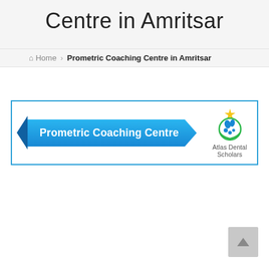Centre in Amritsar
Home > Prometric Coaching Centre in Amritsar
[Figure (illustration): Banner for 'Prometric Coaching Centre' with a blue ribbon-style label on the left and Atlas Dental Scholars logo on the right, inside a blue-bordered box.]